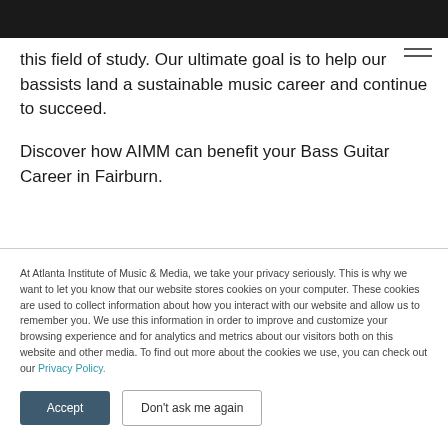this field of study. Our ultimate goal is to help our bassists land a sustainable music career and continue to succeed.
Discover how AIMM can benefit your Bass Guitar Career in Fairburn.
At Atlanta Institute of Music & Media, we take your privacy seriously. This is why we want to let you know that our website stores cookies on your computer. These cookies are used to collect information about how you interact with our website and allow us to remember you. We use this information in order to improve and customize your browsing experience and for analytics and metrics about our visitors both on this website and other media. To find out more about the cookies we use, you can check out our Privacy Policy.